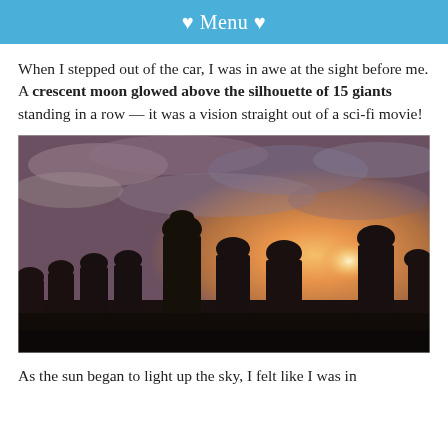♥ Menu ♥
When I stepped out of the car, I was in awe at the sight before me. A crescent moon glowed above the silhouette of 15 giants standing in a row — it was a vision straight out of a sci-fi movie!
[Figure (photo): Silhouette of Easter Island moai statues (Ahu Tongariki) standing in a row against a dramatic sunset sky with orange and golden clouds.]
As the sun began to light up the sky, I felt like I was in